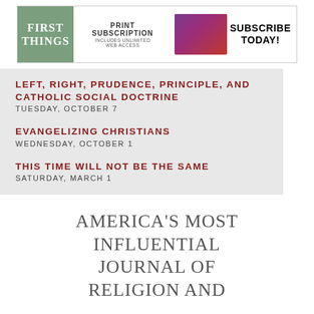[Figure (logo): First Things magazine banner advertisement: green logo on left with 'FIRST THINGS' text, center shows 'PRINT SUBSCRIPTION INCLUDES UNLIMITED WEB ACCESS', colorful magazine images, and 'SUBSCRIBE TODAY!' on right]
LEFT, RIGHT, PRUDENCE, PRINCIPLE, AND CATHOLIC SOCIAL DOCTRINE
TUESDAY, OCTOBER 7
EVANGELIZING CHRISTIANS
WEDNESDAY, OCTOBER 1
THIS TIME WILL NOT BE THE SAME
SATURDAY, MARCH 1
AMERICA'S MOST INFLUENTIAL JOURNAL OF RELIGION AND